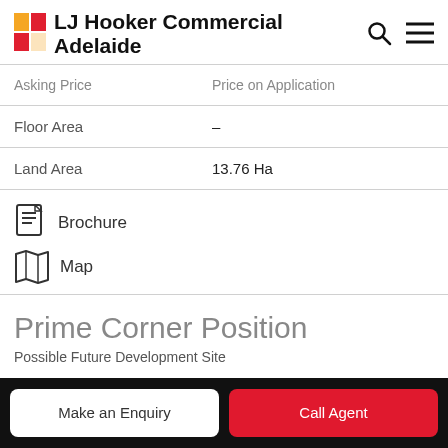LJ Hooker Commercial Adelaide
| Field | Value |
| --- | --- |
| Asking Price | Price on Application |
| Floor Area | – |
| Land Area | 13.76 Ha |
Brochure
Map
Prime Corner Position
Possible Future Development Site
Make an Enquiry | Call Agent